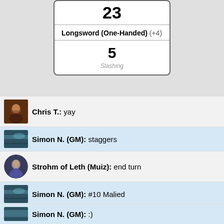[Figure (other): Weapon card showing attack roll 23, Longsword (One-Handed) (+4), damage 5, Slashing]
Chris T.: yay
Simon N. (GM): staggers
Strohm of Leth (Muiz): end turn
Simon N. (GM): #10 Malied
Malied: move out, and fire bolt agagin on last cultiest
rolling 1d20+5
( 20 )+5
= 25
Simon N. (GM): :)